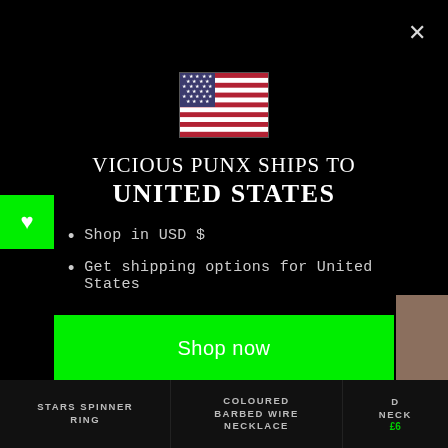[Figure (illustration): US flag icon centered in modal]
VICIOUS PUNX SHIPS TO UNITED STATES
Shop in USD $
Get shipping options for United States
Shop now
Change shipping country
STARS SPINNER RING
COLOURED BARBED WIRE NECKLACE
D NECK £6